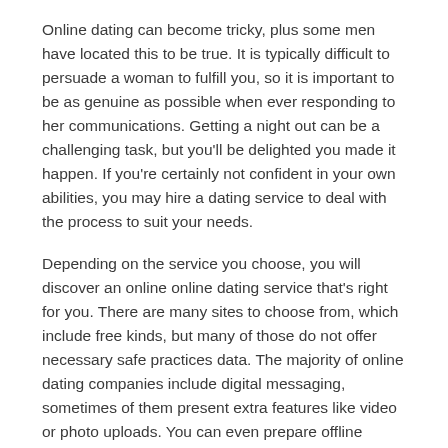Online dating can become tricky, plus some men have located this to be true. It is typically difficult to persuade a woman to fulfill you, so it is important to be as genuine as possible when ever responding to her communications. Getting a night out can be a challenging task, but you’ll be delighted you made it happen. If you’re certainly not confident in your own abilities, you may hire a dating service to deal with the process to suit your needs.
Depending on the service you choose, you will discover an online online dating service that’s right for you. There are many sites to choose from, which include free kinds, but many of those do not offer necessary safe practices data. The majority of online dating companies include digital messaging, sometimes of them present extra features like video or photo uploads. You can even prepare offline gatherings with some of the new friends. There are a